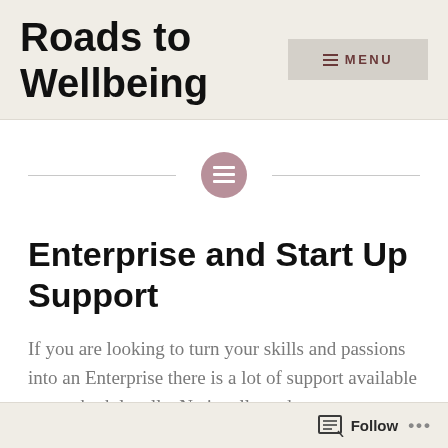Roads to Wellbeing
[Figure (other): Decorative horizontal divider with a mauve/pink circle icon in the center containing a list/menu symbol]
Enterprise and Start Up Support
If you are looking to turn your skills and passions into an Enterprise there is a lot of support available to you both locally, Nationally and
Follow ...